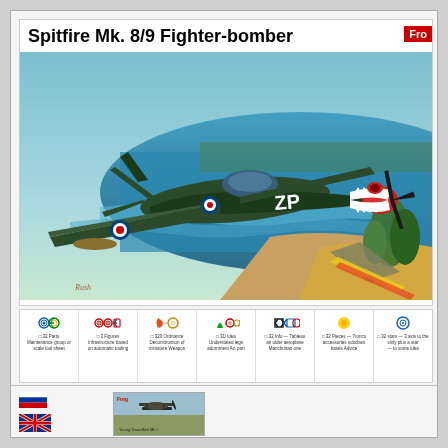Spitfire Mk. 8/9 Fighter-bomber
[Figure (illustration): Box art illustration of a Spitfire Mk. 8/9 Fighter-bomber aircraft painted dark green with 'ZP' markings and shark mouth nose art, flying low over a tropical coastal scene with ocean, beach and palm trees. Signed 'Rush' at bottom left.]
[Figure (infographic): Features bar showing 7 feature icons with colored roundels and crosses, each with small text descriptions below indicating kit features such as 32 Parts, 3 Figures, 320 Ordnance, 3D Idea, 32 Info, 32 Pieces, 32 stars with multilingual descriptions.]
[Figure (illustration): Small thumbnail image of another aircraft model kit box, appearing to show a biplane over a landscape, with 'Frog' branding visible.]